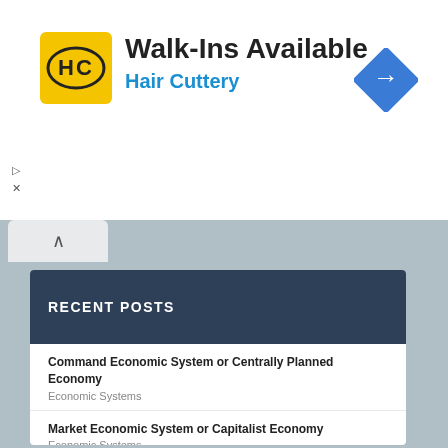[Figure (screenshot): Hair Cuttery advertisement banner with yellow HC logo, 'Walk-Ins Available' heading, 'Hair Cuttery' subtitle in blue, and navigation arrow icon]
RECENT POSTS
Command Economic System or Centrally Planned Economy
Economic Systems
Market Economic System or Capitalist Economy
Economic Systems
Concept of an Economic System
Economic Systems